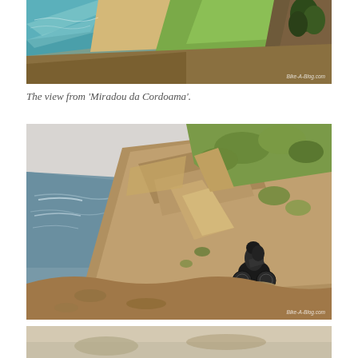[Figure (photo): Aerial view of 'Miradou da Cordoama' showing coastal cliffs, sandy beach, ocean waves, and green hillside with trees. Watermark: Bike-A-Blog.com]
The view from 'Miradou da Cordoama'.
[Figure (photo): Mountain biker riding a narrow trail along a steep coastal cliff edge with ocean and waves visible below on the left, green scrubby vegetation on right. Watermark: Bike-A-Blog.com]
[Figure (photo): Partial view of another outdoor scene, cropped at bottom of page.]